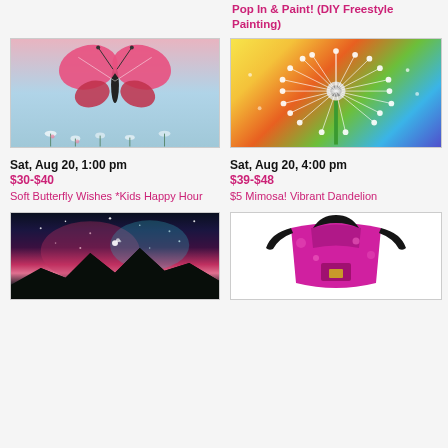Pop In & Paint! (DIY Freestyle Painting)
[Figure (photo): Painting of a pink butterfly above blue flowers]
[Figure (photo): Painting of a vibrant colorful dandelion on yellow-blue background]
Sat, Aug 20, 1:00 pm
$30-$40
Soft Butterfly Wishes *Kids Happy Hour
Sat, Aug 20, 4:00 pm
$39-$48
$5 Mimosa! Vibrant Dandelion
[Figure (photo): Painting of a galaxy/nebula night sky over mountain silhouette]
[Figure (illustration): Logo or illustration of a pink paint-splattered apron]